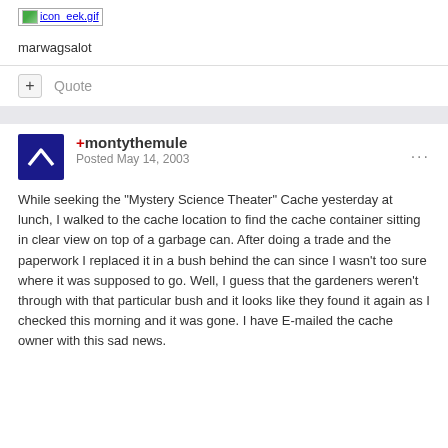[Figure (other): icon_eek.gif image link]
marwagsalot
Quote
+montythemule
Posted May 14, 2003
While seeking the "Mystery Science Theater" Cache yesterday at lunch, I walked to the cache location to find the cache container sitting in clear view on top of a garbage can. After doing a trade and the paperwork I replaced it in a bush behind the can since I wasn't too sure where it was supposed to go. Well, I guess that the gardeners weren't through with that particular bush and it looks like they found it again as I checked this morning and it was gone. I have E-mailed the cache owner with this sad news.